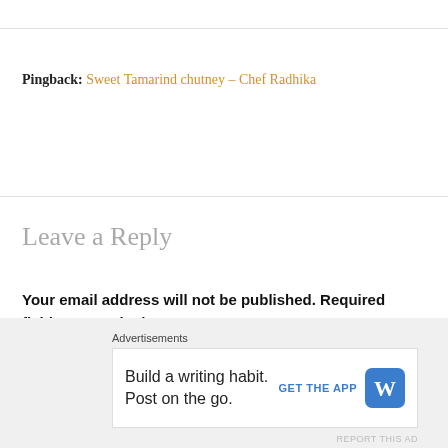Pingback: Sweet Tamarind chutney – Chef Radhika
Leave a Reply
Your email address will not be published. Required fields are marked *
Comment *
Advertisements
Build a writing habit. Post on the go.
GET THE APP